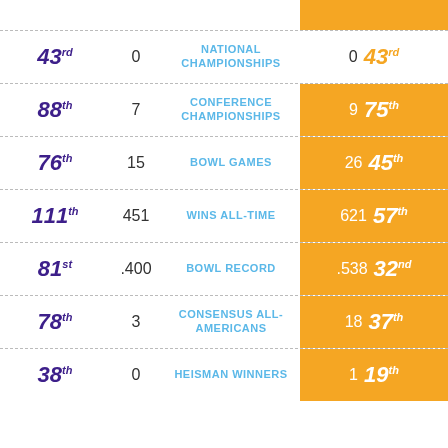| Rank (Left) | Value (Left) | Category | Value (Right) | Rank (Right) |
| --- | --- | --- | --- | --- |
| 43rd | 0 | NATIONAL CHAMPIONSHIPS | 0 | 43rd |
| 88th | 7 | CONFERENCE CHAMPIONSHIPS | 9 | 75th |
| 76th | 15 | BOWL GAMES | 26 | 45th |
| 111th | 451 | WINS ALL-TIME | 621 | 57th |
| 81st | .400 | BOWL RECORD | .538 | 32nd |
| 78th | 3 | CONSENSUS ALL-AMERICANS | 18 | 37th |
| 38th | 0 | HEISMAN WINNERS | 1 | 19th |